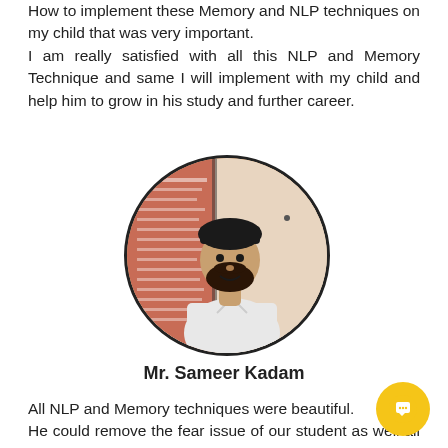How to implement these Memory and NLP techniques on my child that was very important. I am really satisfied with all this NLP and Memory Technique and same I will implement with my child and help him to grow in his study and further career.
[Figure (photo): Oval portrait photo of Mr. Sameer Kadam, a young man with a beard wearing a dark turban and white shirt, with a poster/chart on wall behind him]
Mr. Sameer Kadam
All NLP and Memory techniques were beautiful. He could remove the fear issue of our student as well all negative thinking and bad habits in a couple of minutes. He taught a lot of Memory tech... which will be really helpful for our 4th to 10th standard Students.